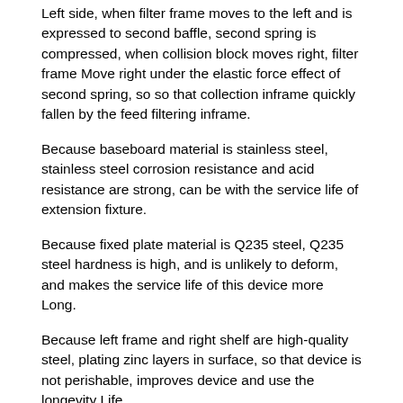Left side, when filter frame moves to the left and is expressed to second baffle, second spring is compressed, when collision block moves right, filter frame Move right under the elastic force effect of second spring, so so that collection inframe quickly fallen by the feed filtering inframe.
Because baseboard material is stainless steel, stainless steel corrosion resistance and acid resistance are strong, can be with the service life of extension fixture.
Because fixed plate material is Q235 steel, Q235 steel hardness is high, and is unlikely to deform, and makes the service life of this device more Long.
Because left frame and right shelf are high-quality steel, plating zinc layers in surface, so that device is not perishable, improves device and use the longevity Life.
【3】Beneficial effect
Invention achieves low cost, crush fast, the easy to operate effect of speed, this device plays an important role not only always There is good crushing effect, also improve operating efficiency, facilitate staff to use this